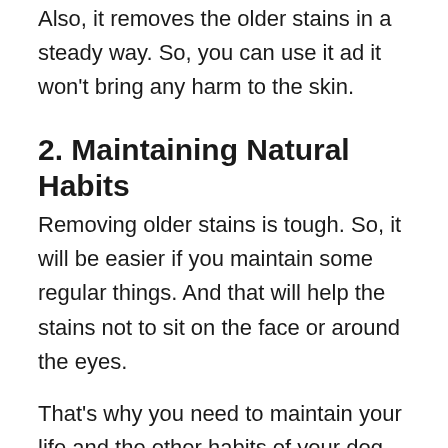Also, it removes the older stains in a steady way. So, you can use it ad it won't bring any harm to the skin.
2. Maintaining Natural Habits
Removing older stains is tough. So, it will be easier if you maintain some regular things. And that will help the stains not to sit on the face or around the eyes.
That's why you need to maintain your life and the other habits of your dog. And what are they? Let's check it out.
Food Habit
Just like human beings, the proper diet of a dog is also important. And that's the reason you need to be